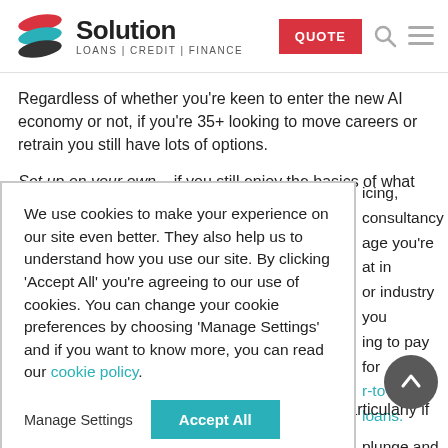Solution LOANS | CREDIT | FINANCE
Regardless of whether you're keen to enter the new AI economy or not, if you're 35+ looking to move careers or retrain you still have lots of options.
Set up on your own – if you still enjoy the basics of what you're [doing, consultancy] [age you're at in] [or industry you] [ing to pay for] [r-to-peer loans.]
We use cookies to make your experience on our site even better. They also help us to understand how you use our site. By clicking 'Accept All' you're agreeing to our use of cookies. You can change your cookie preferences by choosing 'Manage Settings' and if you want to know more, you can read our cookie policy.
[plunge and leave] [already under] [ons such as the] [IT to psychology.]
[art time trai] [any employers are]
very flexible about allowing time off for study, particularly if it